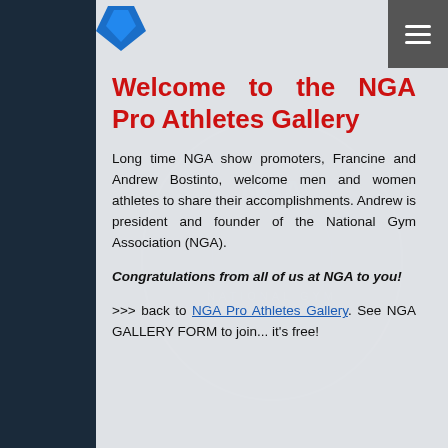Welcome to the NGA Pro Athletes Gallery
Long time NGA show promoters, Francine and Andrew Bostinto, welcome men and women athletes to share their accomplishments. Andrew is president and founder of the National Gym Association (NGA).
Congratulations from all of us at NGA to you!
>>> back to NGA Pro Athletes Gallery. See NGA GALLERY FORM to join... it's free!